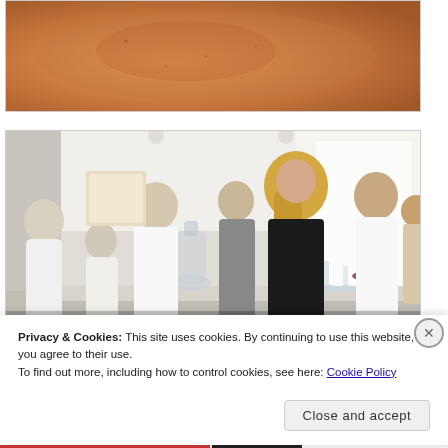[Figure (photo): Close-up photo of what appears to be a food dish with an orange-brown gradient, possibly a soup or sauce]
[Figure (photo): Photo of a restaurant interior with people dining at tables, bright windows, bottles of wine, and glasses visible. A woman with blonde hair is in the foreground.]
Privacy & Cookies: This site uses cookies. By continuing to use this website, you agree to their use.
To find out more, including how to control cookies, see here: Cookie Policy
Close and accept